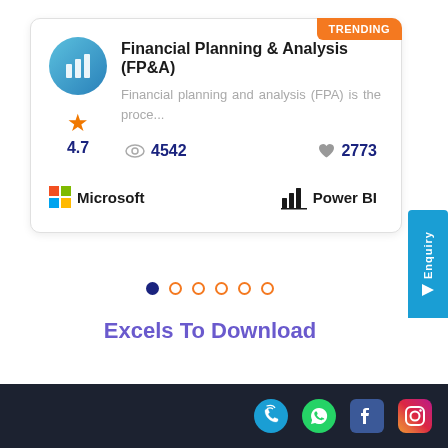Financial Planning & Analysis (FP&A)
Financial planning and analysis (FPA) is the proce...
4542 views · 2773 likes
4.7
[Figure (logo): Microsoft logo with colored squares grid]
[Figure (logo): Power BI logo with bar chart icon]
Excels To Download
Social media icons: phone, WhatsApp, Facebook, Instagram